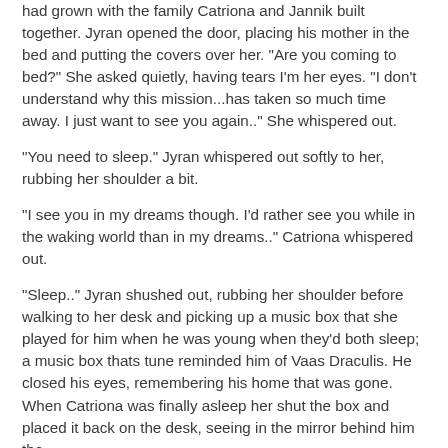had grown with the family Catriona and Jannik built together. Jyran opened the door, placing his mother in the bed and putting the covers over her. "Are you coming to bed?" She asked quietly, having tears I'm her eyes. "I don't understand why this mission...has taken so much time away. I just want to see you again.." She whispered out.
"You need to sleep." Jyran whispered out softly to her, rubbing her shoulder a bit.
"I see you in my dreams though. I'd rather see you while in the waking world than in my dreams.." Catriona whispered out.
"Sleep.." Jyran shushed out, rubbing her shoulder before walking to her desk and picking up a music box that she played for him when he was young when they'd both sleep; a music box thats tune reminded him of Vaas Draculis. He closed his eyes, remembering his home that was gone. When Catriona was finally asleep her shut the box and placed it back on the desk, seeing in the mirror behind him the